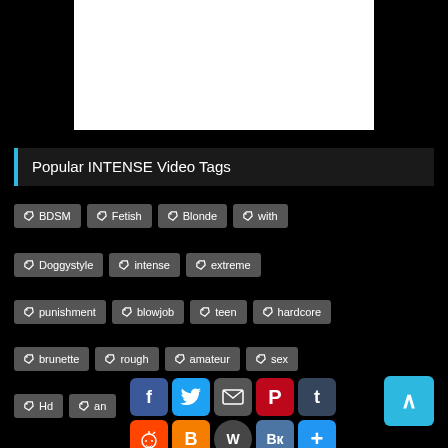[Figure (other): White video player area on black background]
Popular INTENSE Video Tags
BDSM
Fetish
Blonde
with
Doggystyle
intense
extreme
punishment
blowjob
teen
hardcore
brunette
rough
amateur
sex
Hd
an...
[Figure (other): Social media share buttons: Facebook, Twitter, Email, Pinterest, Tumblr, Reddit, Blogger, WordPress, VK, Add]